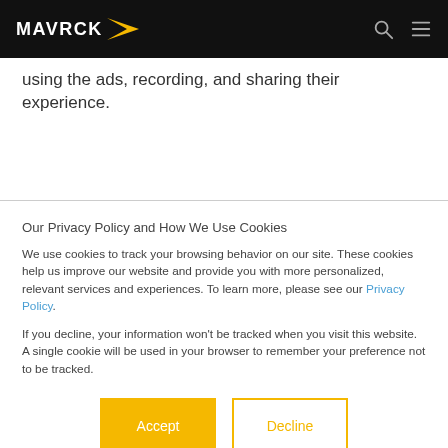MAVRCK
using the ads, recording, and sharing their experience.
Our Privacy Policy and How We Use Cookies
We use cookies to track your browsing behavior on our site. These cookies help us improve our website and provide you with more personalized, relevant services and experiences. To learn more, please see our Privacy Policy.
If you decline, your information won't be tracked when you visit this website. A single cookie will be used in your browser to remember your preference not to be tracked.